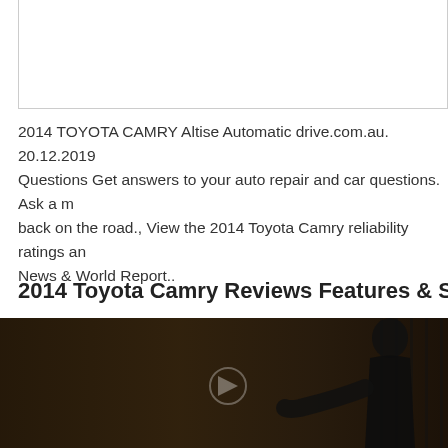[Figure (other): White box area at the top of the page, partially visible]
2014 TOYOTA CAMRY Altise Automatic drive.com.au. 20.12.2019 Questions Get answers to your auto repair and car questions. Ask a m back on the road., View the 2014 Toyota Camry reliability ratings an News & World Report..
2014 Toyota Camry Reviews Features & Specs CarMa
[Figure (screenshot): Video thumbnail showing '2014 Toyota Camry Review' with a circular avatar icon of a helmeted driver on the left and white text on dark background. Below is a dark scene with a figure/person visible.]